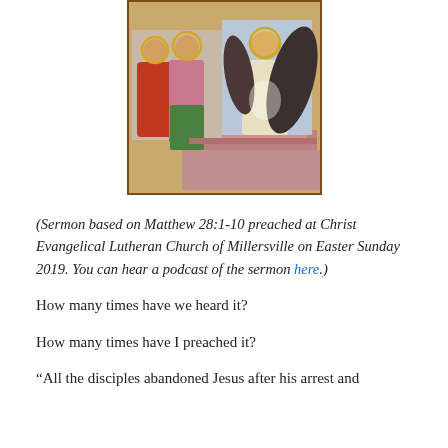[Figure (illustration): Medieval illuminated manuscript style image depicting the Resurrection scene: an angel with dark wings seated at a tomb on the right, and two figures (women) on the left, with golden halos visible, on a pink/red architectural background.]
(Sermon based on Matthew 28:1-10 preached at Christ Evangelical Lutheran Church of Millersville on Easter Sunday 2019. You can hear a podcast of the sermon here.)
How many times have we heard it?
How many times have I preached it?
“All the disciples abandoned Jesus after his arrest and crucifixion.”